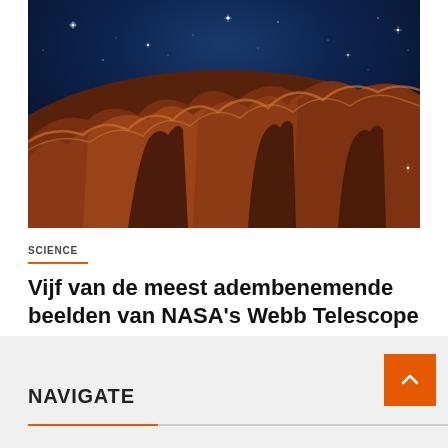[Figure (photo): NASA Webb Telescope image of the Carina Nebula — dramatic cosmic cliffs with orange/brown nebular gas pillars against a deep blue starfield with bright stars.]
SCIENCE
Vijf van de meest adembenemende beelden van NASA's Webb Telescope
augustus 25, 2022   Joan Mack
NAVIGATE